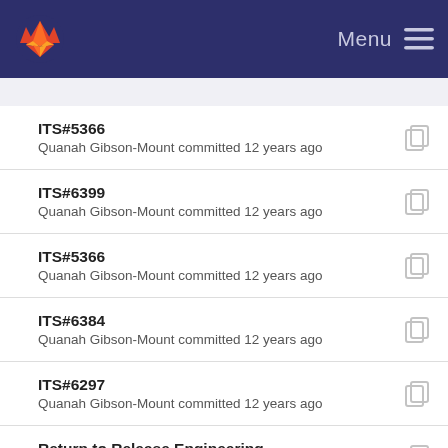GitLab menu
ITS#5366 — Quanah Gibson-Mount committed 12 years ago
ITS#6399 — Quanah Gibson-Mount committed 12 years ago
ITS#5366 — Quanah Gibson-Mount committed 12 years ago
ITS#6384 — Quanah Gibson-Mount committed 12 years ago
ITS#6297 — Quanah Gibson-Mount committed 12 years ago
Return to Release Engineering — Quanah Gibson-Mount committed 12 years ago
update for release — Kurt Zeilenga committed 12 years ago
ITS#... (partial)